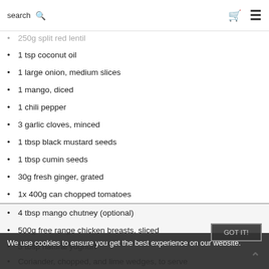search [search icon] [cart icon] [menu icon]
250g split red lentil
1 tsp coconut oil
1 large onion, medium slices
1 mango, diced
1 chili pepper
3 garlic cloves, minced
1 tbsp black mustard seeds
1 tbsp cumin seeds
30g fresh ginger, grated
1x 400g can chopped tomatoes
4 tbsp mango chutney (optional)
500g free range chicken breasts, sliced
3 tbsp natural yoghurt
Coriander, chopped, and lime wedges, to serve
Pitta or flatbread (optional)
We use cookies to ensure you get the best experience on our website.